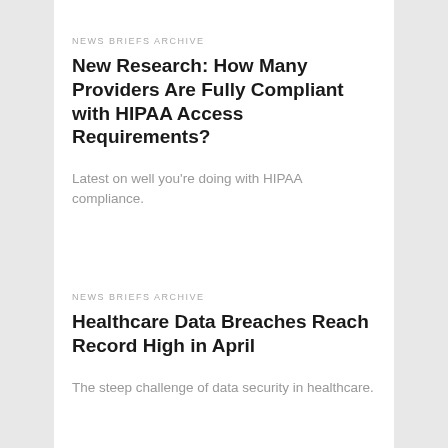NEWS BRIEFS ARCHIVE
New Research: How Many Providers Are Fully Compliant with HIPAA Access Requirements?
Latest on well you're doing with HIPAA compliance.
NEWS BRIEFS ARCHIVE
Healthcare Data Breaches Reach Record High in April
The steep challenge of data security in healthcare.